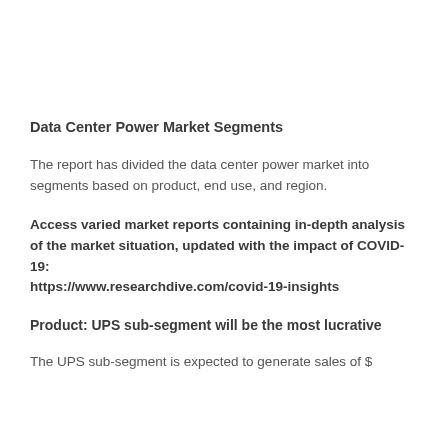Data Center Power Market Segments
The report has divided the data center power market into segments based on product, end use, and region.
Access varied market reports containing in-depth analysis of the market situation, updated with the impact of COVID-19: https://www.researchdive.com/covid-19-insights
Product: UPS sub-segment will be the most lucrative
The UPS sub-segment is expected to generate sales of $